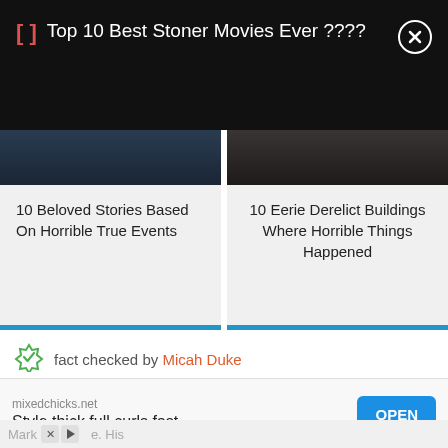Top 10 Best Stoner Movies Ever ????
10 Beloved Stories Based On Horrible True Events
10 Eerie Derelict Buildings Where Horrible Things Happened
fact checked by Micah Duke
[Figure (infographic): Social share buttons: Facebook, Twitter, WhatsApp, Pinterest, LinkedIn, Email]
mixedchicks.net Style thick full curls fast.